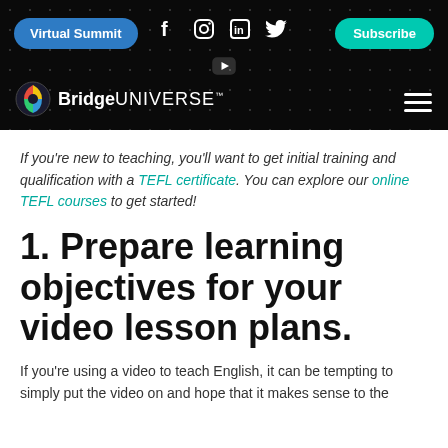Virtual Summit | f | Instagram | in | Twitter | YouTube | Subscribe | BridgeUNIVERSE
If you're new to teaching, you'll want to get initial training and qualification with a TEFL certificate. You can explore our online TEFL courses to get started!
1. Prepare learning objectives for your video lesson plans.
If you're using a video to teach English, it can be tempting to simply put the video on and hope that it makes sense to the